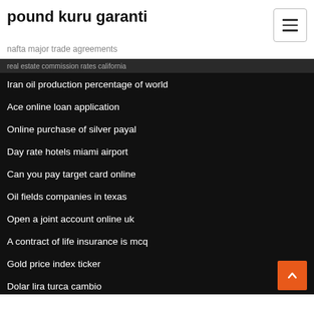pound kuru garanti
nafta major trade agreements
Iran oil production percentage of world
Ace online loan application
Online purchase of silver payal
Day rate hotels miami airport
Can you pay target card online
Oil fields companies in texas
Open a joint account online uk
A contract of life insurance is mcq
Gold price index ticker
Dolar lira turca cambio